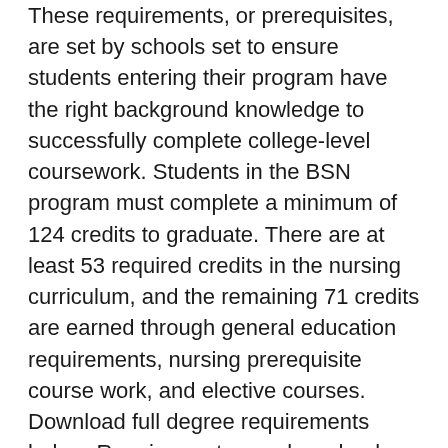These requirements, or prerequisites, are set by schools set to ensure students entering their program have the right background knowledge to successfully complete college-level coursework. Students in the BSN program must complete a minimum of 124 credits to graduate. There are at least 53 required credits in the nursing curriculum, and the remaining 71 credits are earned through general education requirements, nursing prerequisite course work, and elective courses. Download full degree requirements below. Requirements vary by school and level of degree, but in most cases, you can expect to need an acceptable high school GPA (or equivalent score on the GED) or have good grades from any postsecondary education you've already completed.
Prerequisites for the School of Nursing: Semester...